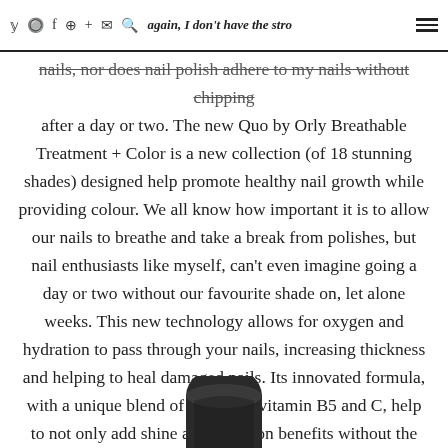…again, I don't have the strongest nails, nor does nail polish adhere to my nails without chipping
after a day or two. The new Quo by Orly Breathable Treatment + Color is a new collection (of 18 stunning shades) designed help promote healthy nail growth while providing colour. We all know how important it is to allow our nails to breathe and take a break from polishes, but nail enthusiasts like myself, can't even imagine going a day or two without our favourite shade on, let alone weeks. This new technology allows for oxygen and hydration to pass through your nails, increasing thickness and helping to heal damaged nails. Its innovated formula, with a unique blend of argan oil, vitamin B5 and C, help to not only add shine and adhesion benefits without the use of a top or base coat, it also helps to stimulate nail growth. The colour also seems to stay on longer, I have no problem getting a solid 5 to 6 days before fading or chipping occurs. It retails for $10.99.
[Figure (photo): Bottom portion of a nail polish bottle, dark colored, partially visible at bottom center of page]